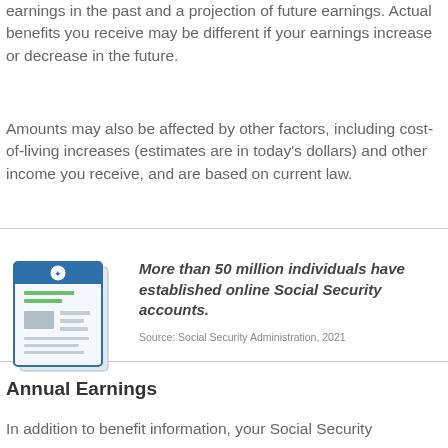earnings in the past and a projection of future earnings. Actual benefits you receive may be different if your earnings increase or decrease in the future.
Amounts may also be affected by other factors, including cost-of-living increases (estimates are in today's dollars) and other income you receive, and are based on current law.
[Figure (illustration): Illustration of a Social Security document/card with an eagle seal at the top, green header lines, and gray content blocks.]
More than 50 million individuals have established online Social Security accounts.
Source: Social Security Administration, 2021
Annual Earnings
In addition to benefit information, your Social Security